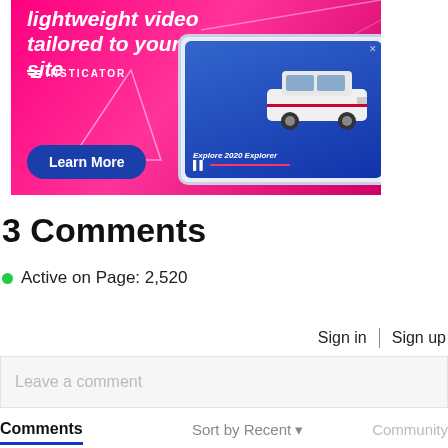[Figure (screenshot): Insticator advertisement banner with magenta/pink background showing text 'lightweight video tailored to your site', Insticator logo, a tablet-like device frame showing a Ford Explorer SUV with 'Explore 2020 Explorer' text, a 'Learn More' button, and geometric triangle outlines.]
3 Comments
Active on Page: 2,520
Sign in | Sign up
Leave a comment
Comments
Sort by Recent ▾
Community